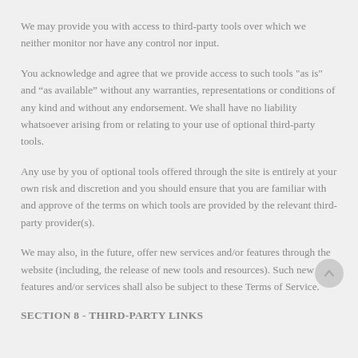We may provide you with access to third-party tools over which we neither monitor nor have any control nor input.
You acknowledge and agree that we provide access to such tools "as is" and “as available” without any warranties, representations or conditions of any kind and without any endorsement. We shall have no liability whatsoever arising from or relating to your use of optional third-party tools.
Any use by you of optional tools offered through the site is entirely at your own risk and discretion and you should ensure that you are familiar with and approve of the terms on which tools are provided by the relevant third-party provider(s).
We may also, in the future, offer new services and/or features through the website (including, the release of new tools and resources). Such new features and/or services shall also be subject to these Terms of Service.
SECTION 8 - THIRD-PARTY LINKS